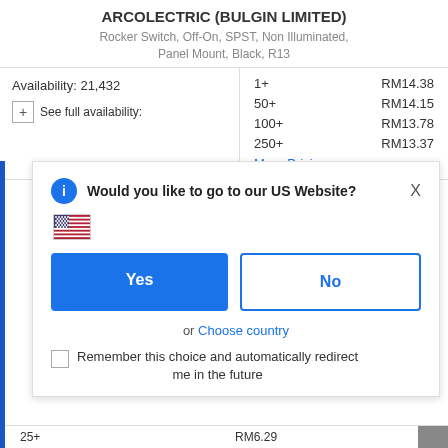ARCOLECTRIC (BULGIN LIMITED)
Rocker Switch, Off-On, SPST, Non Illuminated, Panel Mount, Black, R13
Availability: 21,432
See full availability:
| Quantity | Price |
| --- | --- |
| 1+ | RM14.38 |
| 50+ | RM14.15 |
| 100+ | RM13.78 |
| 250+ | RM13.37 |
More Pricing...
Would you like to go to our US Website?
[Figure (illustration): US flag emoji]
Yes
No
or Choose country
Remember this choice and automatically redirect me in the future
25+   RM6.29